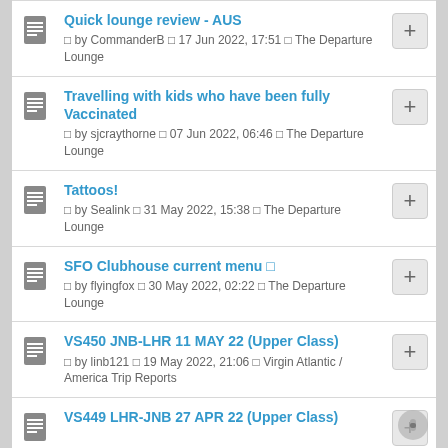Quick lounge review - AUS
⬜ by CommanderB ⬜ 17 Jun 2022, 17:51 ⬜ The Departure Lounge
Travelling with kids who have been fully Vaccinated
⬜ by sjcraythorne ⬜ 07 Jun 2022, 06:46 ⬜ The Departure Lounge
Tattoos!
⬜ by Sealink ⬜ 31 May 2022, 15:38 ⬜ The Departure Lounge
SFO Clubhouse current menu ⬜
⬜ by flyingfox ⬜ 30 May 2022, 02:22 ⬜ The Departure Lounge
VS450 JNB-LHR 11 MAY 22 (Upper Class)
⬜ by linb121 ⬜ 19 May 2022, 21:06 ⬜ Virgin Atlantic / America Trip Reports
VS449 LHR-JNB 27 APR 22 (Upper Class)